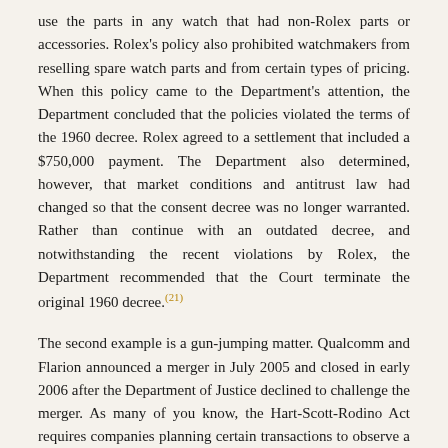use the parts in any watch that had non-Rolex parts or accessories. Rolex's policy also prohibited watchmakers from reselling spare watch parts and from certain types of pricing. When this policy came to the Department's attention, the Department concluded that the policies violated the terms of the 1960 decree. Rolex agreed to a settlement that included a $750,000 payment. The Department also determined, however, that market conditions and antitrust law had changed so that the consent decree was no longer warranted. Rather than continue with an outdated decree, and notwithstanding the recent violations by Rolex, the Department recommended that the Court terminate the original 1960 decree.(21)
The second example is a gun-jumping matter. Qualcomm and Flarion announced a merger in July 2005 and closed in early 2006 after the Department of Justice declined to challenge the merger. As many of you know, the Hart-Scott-Rodino Act requires companies planning certain transactions to observe a mandatory waiting period before the parties merge. The Department learned that Qualcomm obtained operational control over Flarion without observing the waiting period. The companies' merger agreement required Flarion to seek Qualcomm's consent before undertaking certain basic business activities, such as making new proposals to customers, and Flarion also sought and followed Qualcomm's guidance before making routine decisions, such as hiring consultants and employees. In April, the Department announced a settlement under which the parties agreed to pay a $1.8 million dollar fine. This was a significant fine, reflecting the important principle that merging parties must continue to operate independently until the